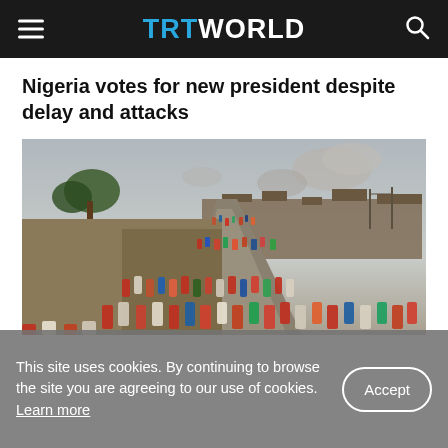TRT WORLD
Nigeria votes for new president despite delay and attacks
[Figure (photo): Large crowd of people walking along a road toward a town with smoke rising in the background]
This site uses cookies. By continuing to browse the site you are agreeing to our use of cookies. Learn more